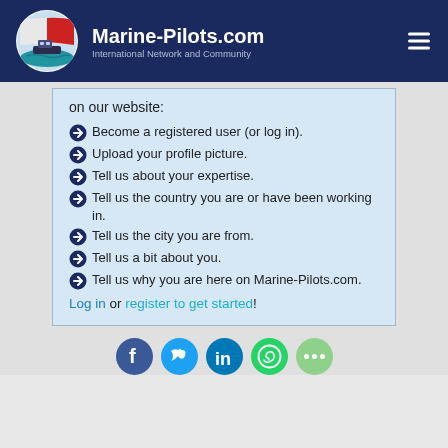Marine-Pilots.com – International Network and Community
on our website:
Become a registered user (or log in).
Upload your profile picture.
Tell us about your expertise.
Tell us the country you are or have been working in.
Tell us the city you are from.
Tell us a bit about you.
Tell us why you are here on Marine-Pilots.com.
Log in or register to get started!